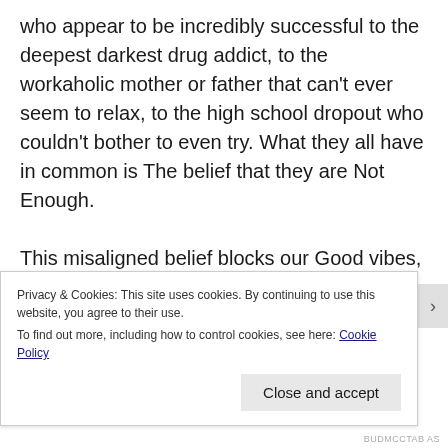who appear to be incredibly successful to the deepest darkest drug addict, to the workaholic mother or father that can't ever seem to relax, to the high school dropout who couldn't bother to even try. What they all have in common is The belief that they are Not Enough.

This misaligned belief blocks our Good vibes, our supportive team, clogs our arteries and makes us sick. This is after all a misaligned
Privacy & Cookies: This site uses cookies. By continuing to use this website, you agree to their use.
To find out more, including how to control cookies, see here: Cookie Policy
Close and accept